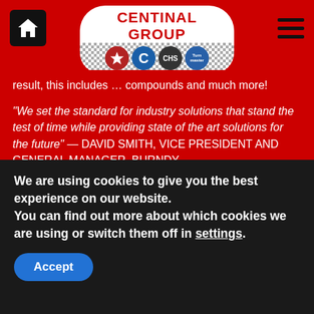[Figure (logo): Centinal Group logo with checkered background and brand icons (red star, C, CAS, Turnmaster)]
result, this includes [brand icons] …ing compounds and much more!
"We set the standard for industry solutions that stand the test of time while providing state of the art solutions for the future" — DAVID SMITH, VICE PRESIDENT AND GENERAL MANAGER, BURNDY
In addition, we also hire Burndy equipment nationwide click here to see the range. Furthermore this is a great way to try the tooling before you decide to purchase.
Each product has it's unique features as well as additional products to work alongside them. As seen below, please click on each individual product to view the item details. Therefore if you are not sure which product you need for the application please contact us. Finally, for
We are using cookies to give you the best experience on our website.
You can find out more about which cookies we are using or switch them off in settings.